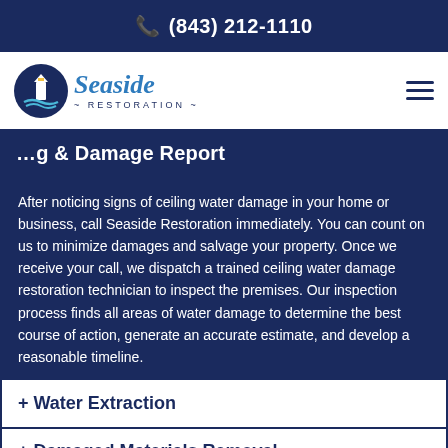(843) 212-1110
[Figure (logo): Seaside Restoration logo with lighthouse icon]
Inspection & Damage Report
After noticing signs of ceiling water damage in your home or business, call Seaside Restoration immediately. You can count on us to minimize damages and salvage your property. Once we receive your call, we dispatch a trained ceiling water damage restoration technician to inspect the premises. Our inspection process finds all areas of water damage to determine the best course of action, generate an accurate estimate, and develop a reasonable timeline.
+ Water Extraction
+ Damaged Materials Removal